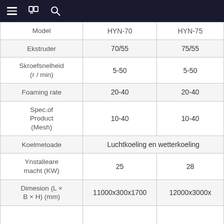≡  [book icon]  🔍
| Model | HYN-70 | HYN-75 |
| --- | --- | --- |
| Ekstruder | 70/55 | 75/55 |
| Skroefsnelheid (r / min) | 5-50 | 5-50 |
| Foaming rate | 20-40 | 20-40 |
| Spec.of Product (Mesh) | 10-40 | 10-40 |
| Koelmetoade | Luchtkoeling en wetterkoeling | Luchtkoeling en wetterkoeling |
| Ynstalleare macht (KW) | 25 | 28 |
| Dimesion (L × B × H) (mm) | 11000x300x1700 | 12000x3000x... |
|  |  |  |